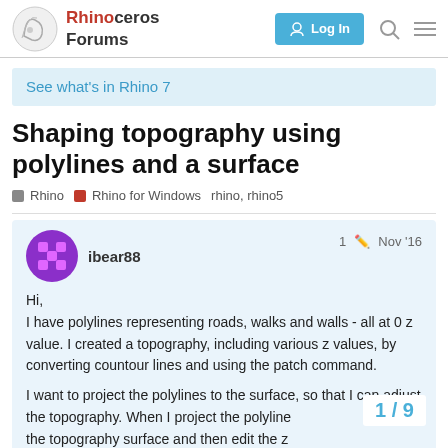Rhinoceros Forums — Log In
See what's in Rhino 7
Shaping topography using polylines and a surface
Rhino  Rhino for Windows  rhino, rhino5
ibear88  1  Nov '16
Hi,
I have polylines representing roads, walks and walls - all at 0 z value. I created a topography, including various z values, by converting countour lines and using the patch command.

I want to project the polylines to the surface, so that I can adjust the topography. When I project the polylines to the topography surface and then edit the z
1 / 9